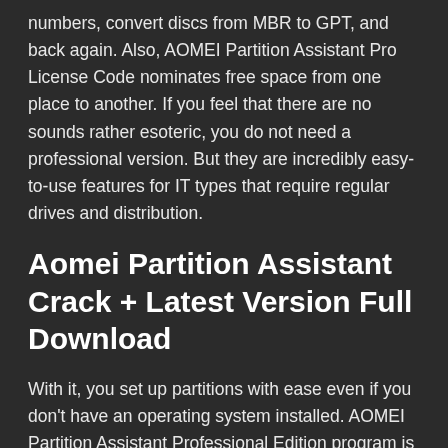numbers, convert discs from MBR to GPT, and back again. Also, AOMEI Partition Assistant Pro License Code nominates free space from one place to another. If you feel that there are no sounds rather esoteric, you do not need a professional version. But they are incredibly easy-to-use features for IT types that require regular drives and distribution.
Aomei Partition Assistant Crack + Latest Version Full Download
With it, you set up partitions with ease even if you don't have an operating system installed. AOMEI Partition Assistant Professional Edition program is the same as the one that runs in Windows but is alternatively launched